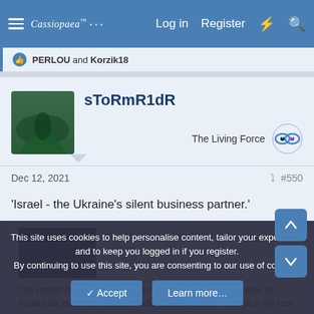Cassiopaea forum — Log in  Register
PERLOU and Korzik18
sToRmR1dR
The Living Force
Dec 12, 2021  #550
'Israel - the Ukraine's silent business partner.'
Kremlin keeping a close eye on Israel-Ukraine...
The recent visit of Ukrainian Defense Minister Oleksii Reznikov to Israel took place with sparse media coverage at the request of the host country. Official statements only
This site uses cookies to help personalise content, tailor your experience and to keep you logged in if you register.
By continuing to use this site, you are consenting to our use of cookies.